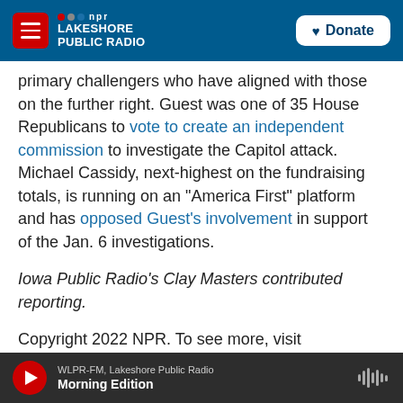Lakeshore Public Radio — NPR | Donate
primary challengers who have aligned with those on the further right. Guest was one of 35 House Republicans to vote to create an independent commission to investigate the Capitol attack. Michael Cassidy, next-highest on the fundraising totals, is running on an "America First" platform and has opposed Guest's involvement in support of the Jan. 6 investigations.
Iowa Public Radio's Clay Masters contributed reporting.
Copyright 2022 NPR. To see more, visit
WLPR-FM, Lakeshore Public Radio — Morning Edition